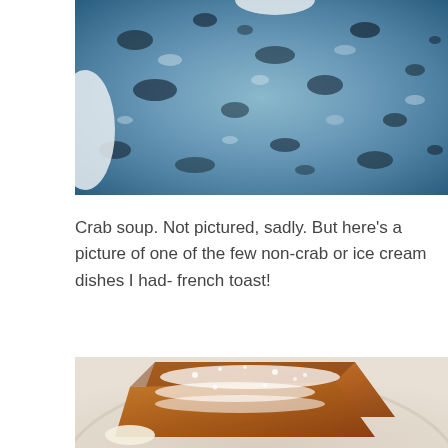[Figure (photo): Close-up overhead photo of a blue speckled ceramic bowl with dark marbling pattern, containing what appears to be crab soup (not shown clearly). White cloth or napkin visible at edges.]
Crab soup. Not pictured, sadly. But here’s a picture of one of the few non-crab or ice cream dishes I had- french toast!
[Figure (photo): Close-up photo of french toast slices dusted with powdered sugar on a cream-colored plate, with what appears to be butter or cream visible.]